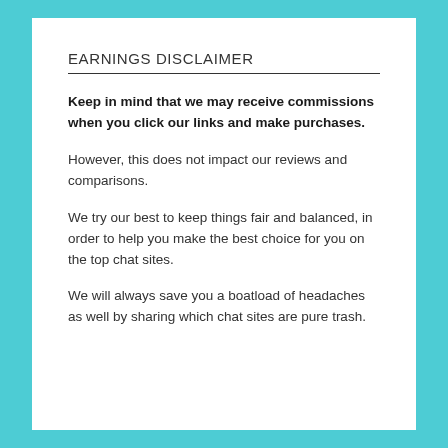EARNINGS DISCLAIMER
Keep in mind that we may receive commissions when you click our links and make purchases.
However, this does not impact our reviews and comparisons.
We try our best to keep things fair and balanced, in order to help you make the best choice for you on the top chat sites.
We will always save you a boatload of headaches as well by sharing which chat sites are pure trash.